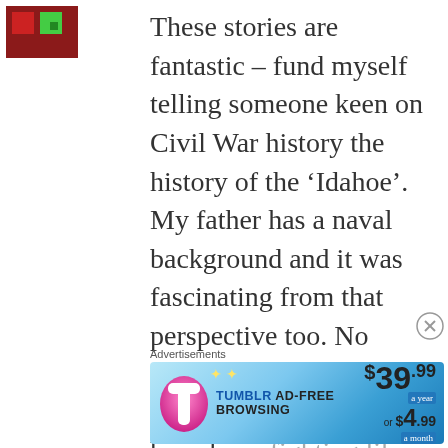[Figure (logo): Dark red and green logo icon in top left corner]
These stories are fantastic – fund myself telling someone keen on Civil War history the history of the ‘Idahoe’. My father has a naval background and it was fascinating from that perspective too. No supplies or money? Those women would have been fighting like cats and dogs
[Figure (other): Close/dismiss button (X in circle)]
Advertisements
[Figure (infographic): Tumblr Ad-Free Browsing advertisement banner showing $39.99 a year or $4.99 a month pricing]